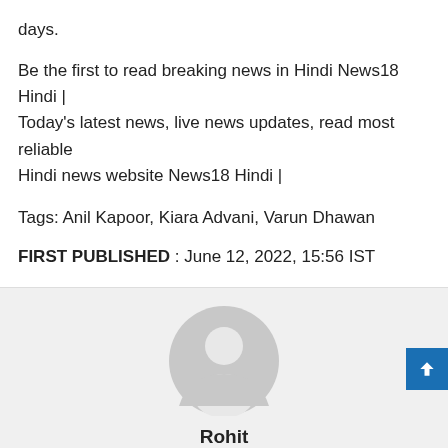days.
Be the first to read breaking news in Hindi News18 Hindi | Today's latest news, live news updates, read most reliable Hindi news website News18 Hindi |
Tags: Anil Kapoor, Kiara Advani, Varun Dhawan
FIRST PUBLISHED : June 12, 2022, 15:56 IST
[Figure (illustration): Generic user avatar placeholder — circular grey silhouette of a person on a light grey background]
Rohit